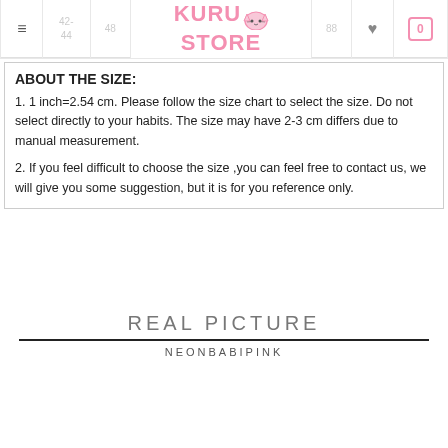KURU STORE — navigation header with hamburger menu, size options (42-44, 48), logo, heart icon, and cart (0)
ABOUT THE SIZE:
1. 1 inch=2.54 cm. Please follow the size chart to select the size. Do not select directly to your habits. The size may have 2-3 cm differs due to manual measurement.
2. If you feel difficult to choose the size ,you can feel free to contact us, we will give you some suggestion, but it is for you reference only.
REAL PICTURE
NEONBABIPINK